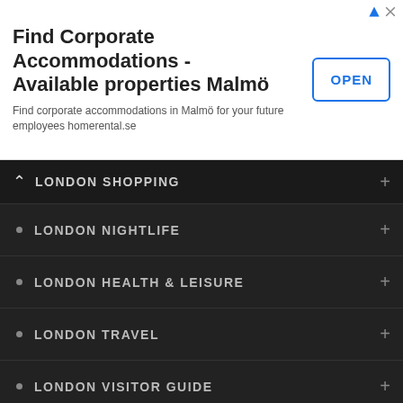[Figure (screenshot): Advertisement banner for homerental.se corporate accommodations in Malmö with an OPEN button]
LONDON SHOPPING
LONDON NIGHTLIFE
LONDON HEALTH & LEISURE
LONDON TRAVEL
LONDON VISITOR GUIDE
RECOMMENDED READING
ROOMCARD
Roomcard.com London's Most Popular Hotels
Give the gift of a lifetime, give Roomcard™